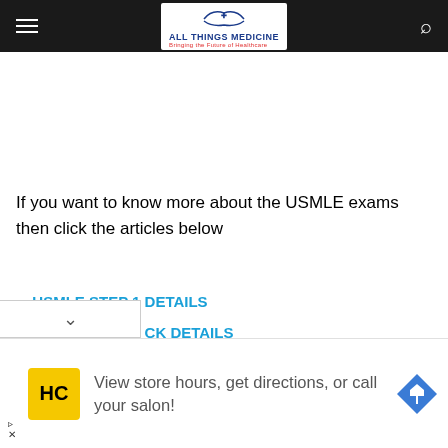All Things Medicine — Bringing the Future of Healthcare
If you want to know more about the USMLE exams then click the articles below
USMLE STEP 1 DETAILS
USMLE STEP 2 CK DETAILS
DOWNLOAD FREE MEDICAL BOOKS FOR ALL EXAMS FREE
[Figure (screenshot): Advertisement banner: HC salon logo with text 'View store hours, get directions, or call your salon!' and a navigation arrow icon]